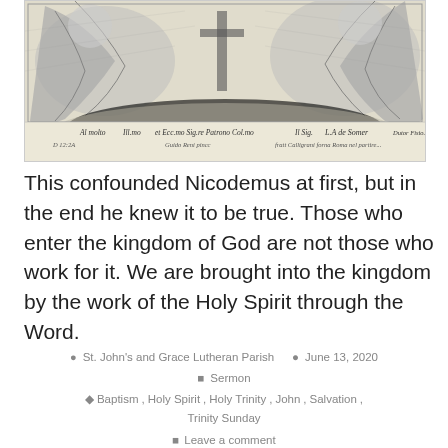[Figure (illustration): A black and white etching showing draped figures around a cross, with handwritten Latin/Italian text at the bottom. Text reads: 'Al molto Ill.mo et Ecc.mo Sig.re Patrono Col.mo Il Sig. L.A de Somer Dutor Fisio...' and 'D 12:2A ... Guido Reni pincc ... fratt Calligrani forna Roma nel partire']
This confounded Nicodemus at first, but in the end he knew it to be true. Those who enter the kingdom of God are not those who work for it. We are brought into the kingdom by the work of the Holy Spirit through the Word.
St. John's and Grace Lutheran Parish   June 13, 2020
Sermon
Baptism, Holy Spirit, Holy Trinity, John, Salvation, Trinity Sunday
Leave a comment